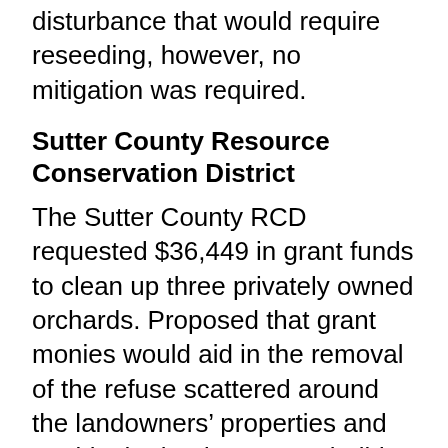disturbance that would require reseeding, however, no mitigation was required.
Sutter County Resource Conservation District
The Sutter County RCD requested $36,449 in grant funds to clean up three privately owned orchards. Proposed that grant monies would aid in the removal of the refuse scattered around the landowners’ properties and enable the landowners to build security gates and fences to prevent future dumping. All three owners were victims of illegal dumping and did not have adequate funds to pay for cleanup or to erect fencing. $34,011 was spent to remove sheet metal, concrete, furniture, chairs, stereos, televisions, beds, and more than 30 tires. Fencing
[Figure (logo): Circular logo with colored dots (blue, orange, yellow, red) on dark background]